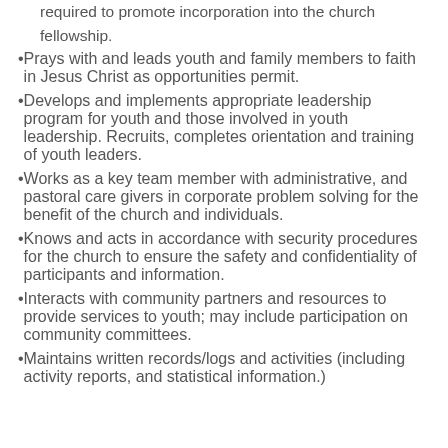Assists in the planning of assimilation strategies and events as required to promote incorporation into the church fellowship.
Prays with and leads youth and family members to faith in Jesus Christ as opportunities permit.
Develops and implements appropriate leadership program for youth and those involved in youth leadership. Recruits, completes orientation and training of youth leaders.
Works as a key team member with administrative, and pastoral care givers in corporate problem solving for the benefit of the church and individuals.
Knows and acts in accordance with security procedures for the church to ensure the safety and confidentiality of participants and information.
Interacts with community partners and resources to provide services to youth; may include participation on community committees.
Maintains written records/logs and activities (including activity reports, and statistical information.)